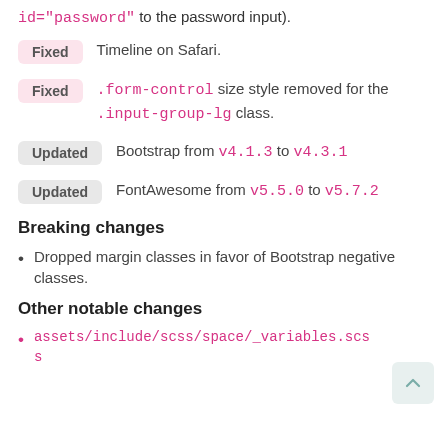id="password" to the password input).
Fixed   Timeline on Safari.
Fixed   .form-control size style removed for the .input-group-lg class.
Updated   Bootstrap from v4.1.3 to v4.3.1
Updated   FontAwesome from v5.5.0 to v5.7.2
Breaking changes
Dropped margin classes in favor of Bootstrap negative classes.
Other notable changes
assets/include/scss/space/_variables.scss